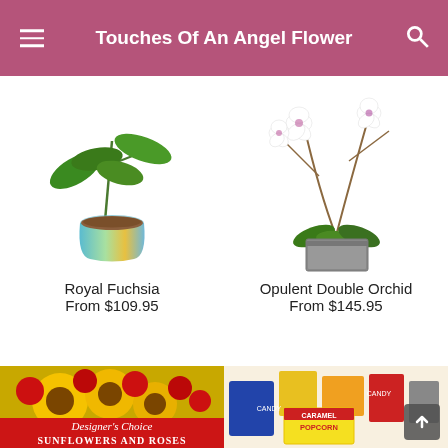Touches Of An Angel Flower
[Figure (photo): Royal Fuchsia plant in a shiny iridescent pot, on white background]
Royal Fuchsia
From $109.95
[Figure (photo): Opulent Double Orchid in a square stone-like planter with white orchid blooms and branches, on white background]
Opulent Double Orchid
From $145.95
[Figure (photo): Designer's Choice Sunflowers and Roses floral arrangement with red roses and sunflowers, banner text overlay]
[Figure (photo): Gift basket with assorted snacks including Caramel Popcorn and candy items]